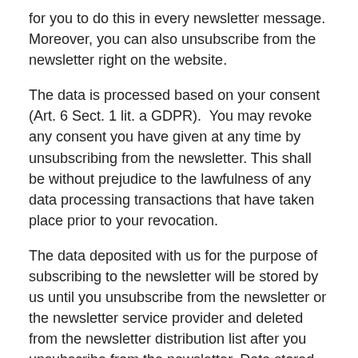for you to do this in every newsletter message. Moreover, you can also unsubscribe from the newsletter right on the website.
The data is processed based on your consent (Art. 6 Sect. 1 lit. a GDPR).  You may revoke any consent you have given at any time by unsubscribing from the newsletter. This shall be without prejudice to the lawfulness of any data processing transactions that have taken place prior to your revocation.
The data deposited with us for the purpose of subscribing to the newsletter will be stored by us until you unsubscribe from the newsletter or the newsletter service provider and deleted from the newsletter distribution list after you unsubscribe from the newsletter. Data stored for other purposes with us remain unaffected.
After you unsubscribe from the newsletter distribution list, your e-mail address may be stored by us or the newsletter